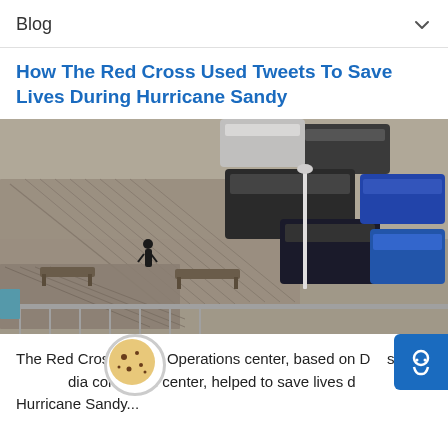Blog
How The Red Cross Used Tweets To Save Lives During Hurricane Sandy
[Figure (photo): Aerial photograph of Hurricane Sandy damage showing a collapsed boardwalk with wooden planks scattered across a parking lot, several cars partially buried or displaced, and a person walking among the debris.]
The Red Cross Digital Operations center, based on D... social media command center, helped to save lives d... Hurricane Sandy...